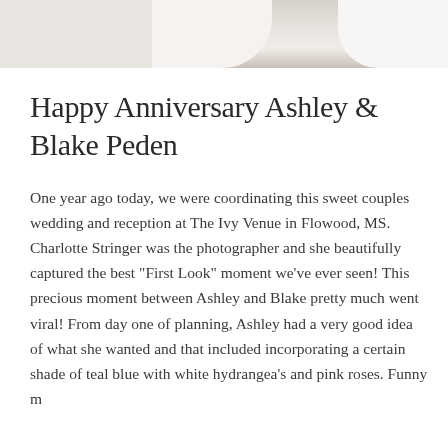[Figure (photo): Partial view of a wedding photo showing white fabric/dress and neutral background, cropped at top of page]
Happy Anniversary Ashley & Blake Peden
One year ago today, we were coordinating this sweet couples wedding and reception at The Ivy Venue in Flowood, MS. Charlotte Stringer was the photographer and she beautifully captured the best "First Look" moment we've ever seen! This precious moment between Ashley and Blake pretty much went viral! From day one of planning, Ashley had a very good idea of what she wanted and that included incorporating a certain shade of teal blue with white hydrangea's and pink roses. Funny m